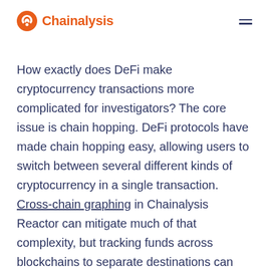Chainalysis
How exactly does DeFi make cryptocurrency transactions more complicated for investigators? The core issue is chain hopping. DeFi protocols have made chain hopping easy, allowing users to switch between several different kinds of cryptocurrency in a single transaction. Cross-chain graphing in Chainalysis Reactor can mitigate much of that complexity, but tracking funds across blockchains to separate destinations can still be time-consuming.